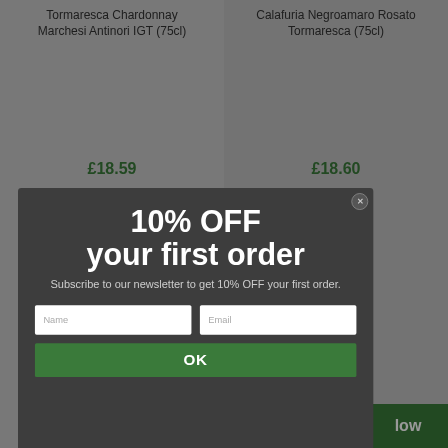Tormaresca Chardonnay Marchesi Antinori IGT (75cl)
Calafuria Negroamaro Rosato Tormaresca (75cl)
£18.59
£18.60
[Figure (screenshot): Modal popup overlay on a wine shop website showing a 10% OFF newsletter subscription offer with Name and Email input fields and an OK button]
10% OFF your first order
Subscribe to our newsletter to get 10% OFF your first order.
Name
Email
OK
low